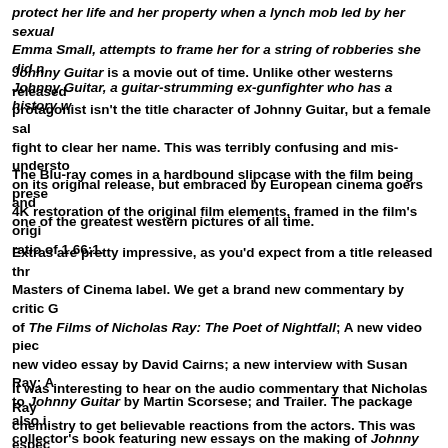protect her life and her property when a lynch mob led by her sexual rival Emma Small, attempts to frame her for a string of robberies she did not commit. Johnny Guitar, a guitar-strumming ex-gunfighter who has a history w
Johnny Guitar is a movie out of time. Unlike other westerns released protagonist isn't the title character of Johnny Guitar, but a female sal fight to clear her name. This was terribly confusing and mis-understo on its original release, but embraced by European cinema goers and one of the greatest western pictures of all time.
The Blu-ray comes in a hardbound slipcase with the film being prese 4K restoration of the original film elements, framed in the film's origi ratio of 1.66:1.
Extras are pretty impressive, as you'd expect from a title released thr Masters of Cinema label. We get a brand new commentary by critic G of The Films of Nicholas Ray: The Poet of Nightfall; A new video piec new video essay by David Cairns; a new interview with Susan Ray; A to Johnny Guitar by Martin Scorsese; and Trailer. The package also i collector's book featuring new essays on the making of Johnny Guita gunslingers in the western genre, both by western expert Howard Hu Jonathan Rosenbaum; and archival writing and ephemera.
It was interesting to hear on the audio commentary that Nicholas Ray chemistry to get believable reactions from the actors. This was espec between Joan Crawford and Mercedes McCambridge, who were not k fact it's noted that most people had fallen out with Crawford by the ti complete.